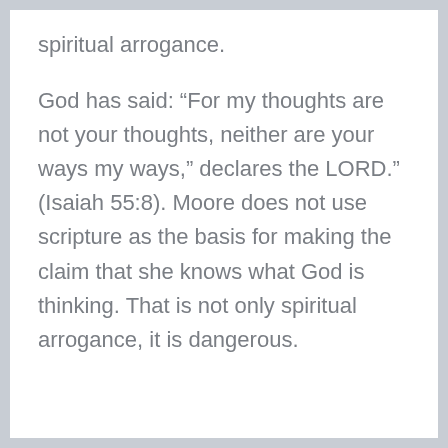spiritual arrogance.
God has said: “For my thoughts are not your thoughts, neither are your ways my ways,” declares the LORD.” (Isaiah 55:8). Moore does not use scripture as the basis for making the claim that she knows what God is thinking. That is not only spiritual arrogance, it is dangerous.